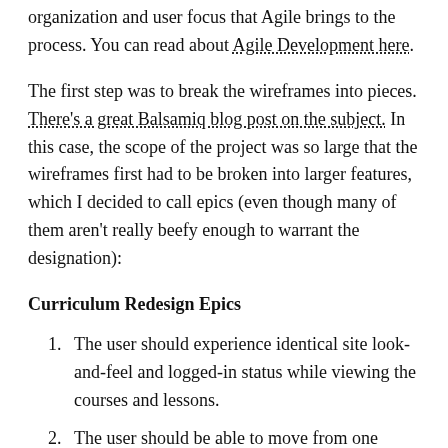organization and user focus that Agile brings to the process. You can read about Agile Development here.
The first step was to break the wireframes into pieces. There's a great Balsamiq blog post on the subject. In this case, the scope of the project was so large that the wireframes first had to be broken into larger features, which I decided to call epics (even though many of them aren't really beefy enough to warrant the designation):
Curriculum Redesign Epics
The user should experience identical site look-and-feel and logged-in status while viewing the courses and lessons.
The user should be able to move from one lesson to